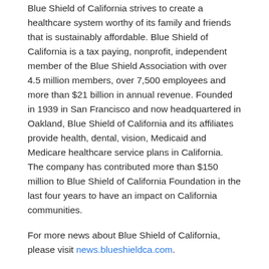Blue Shield of California strives to create a healthcare system worthy of its family and friends that is sustainably affordable. Blue Shield of California is a tax paying, nonprofit, independent member of the Blue Shield Association with over 4.5 million members, over 7,500 employees and more than $21 billion in annual revenue. Founded in 1939 in San Francisco and now headquartered in Oakland, Blue Shield of California and its affiliates provide health, dental, vision, Medicaid and Medicare healthcare service plans in California. The company has contributed more than $150 million to Blue Shield of California Foundation in the last four years to have an impact on California communities.
For more news about Blue Shield of California, please visit news.blueshieldca.com.
Or follow us on LinkedIn, Twitter, or Facebook.